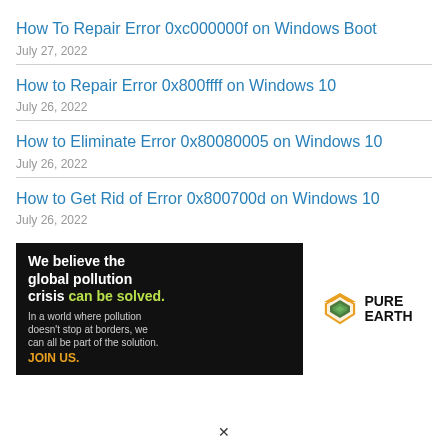How To Repair Error 0xc000000f on Windows Boot
July 27, 2022
How to Repair Error 0x800ffff on Windows 10
July 26, 2022
How to Eliminate Error 0x80080005 on Windows 10
July 26, 2022
How to Get Rid of Error 0x800700d on Windows 10
July 26, 2022
[Figure (other): Pure Earth advertisement banner. Left dark section: 'We believe the global pollution crisis can be solved.' with green highlight on 'can be solved.' Right text: 'In a world where pollution doesn't stop at borders, we can all be part of the solution. JOIN US.' Right logo section: Pure Earth logo with diamond/chevron icon.]